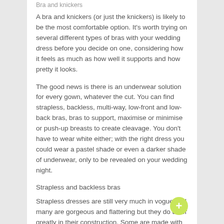Bra and knickers
A bra and knickers (or just the knickers) is likely to be the most comfortable option. It's worth trying on several different types of bras with your wedding dress before you decide on one, considering how it feels as much as how well it supports and how pretty it looks.
The good news is there is an underwear solution for every gown, whatever the cut. You can find strapless, backless, multi-way, low-front and low-back bras, bras to support, maximise or minimise or push-up breasts to create cleavage. You don't have to wear white either; with the right dress you could wear a pastel shade or even a darker shade of underwear, only to be revealed on your wedding night.
Strapless and backless bras
Strapless dresses are still very much in vogue and many are gorgeous and flattering but they do differ greatly in their construction. Some are made with inner support for your bust while others will need a good strapless bra to be worn underneath.
Backless or low-backed gowns can be worn without a bra for the few of us who are brave enough but a clever multi-way